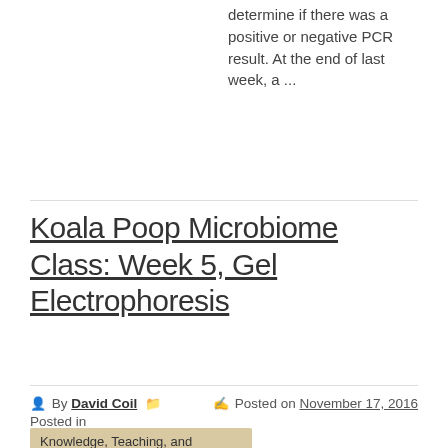determine if there was a positive or negative PCR result. At the end of last week, a ...
Koala Poop Microbiome Class: Week 5, Gel Electrophoresis
By David Coil  Posted in  Posted on November 17, 2016
Knowledge, Teaching, and Communication